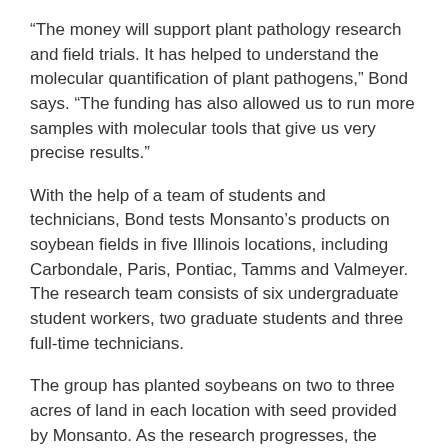“The money will support plant pathology research and field trials. It has helped to understand the molecular quantification of plant pathogens,” Bond says. “The funding has also allowed us to run more samples with molecular tools that give us very precise results.”
With the help of a team of students and technicians, Bond tests Monsanto’s products on soybean fields in five Illinois locations, including Carbondale, Paris, Pontiac, Tamms and Valmeyer. The research team consists of six undergraduate student workers, two graduate students and three full-time technicians.
The group has planted soybeans on two to three acres of land in each location with seed provided by Monsanto. As the research progresses, the team will begin to spray each field with the company’s products and check for diseases in the soybean plants. Fakhoury’s group will use molecular techniques to detect and quantify plant pathogens in these soybeans.
“Funding such as this is important to the University. It not only allows Dr. Bond and Dr. Fakhoury to conduct much-needed